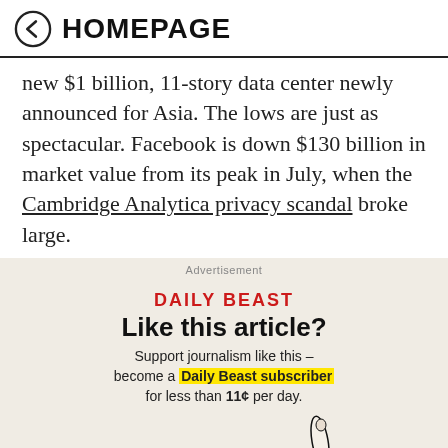← HOMEPAGE
new $1 billion, 11-story data center newly announced for Asia. The lows are just as spectacular. Facebook is down $130 billion in market value from its peak in July, when the Cambridge Analytica privacy scandal broke large.
[Figure (infographic): Daily Beast advertisement: 'Like this article? Support journalism like this – become a Daily Beast subscriber for less than 11¢ per day.' with a red Subscribe Now button and a thumbs-up illustration.]